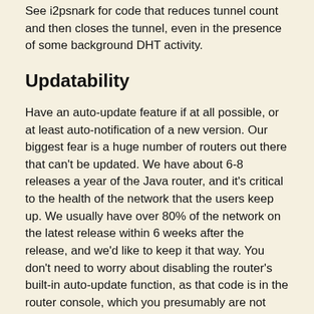See i2psnark for code that reduces tunnel count and then closes the tunnel, even in the presence of some background DHT activity.
Updatability
Have an auto-update feature if at all possible, or at least auto-notification of a new version. Our biggest fear is a huge number of routers out there that can't be updated. We have about 6-8 releases a year of the Java router, and it's critical to the health of the network that the users keep up. We usually have over 80% of the network on the latest release within 6 weeks after the release, and we'd like to keep it that way. You don't need to worry about disabling the router's built-in auto-update function, as that code is in the router console, which you presumably are not bundling.